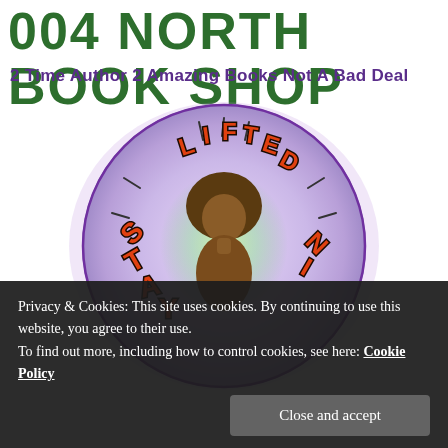004 NORTH BOOK SHOP
2 Time Author 2 Amazing Books Not A Bad Deal
[Figure (logo): Circular logo with lavender/purple glowing background featuring a silhouetted figure with an afro hairstyle, surrounded by the text 'STAY LIFTED' in orange/red bubbly letters with dark outlines, with lightning bolt-style marks radiating outward.]
Privacy & Cookies: This site uses cookies. By continuing to use this website, you agree to their use.
To find out more, including how to control cookies, see here: Cookie Policy
Close and accept